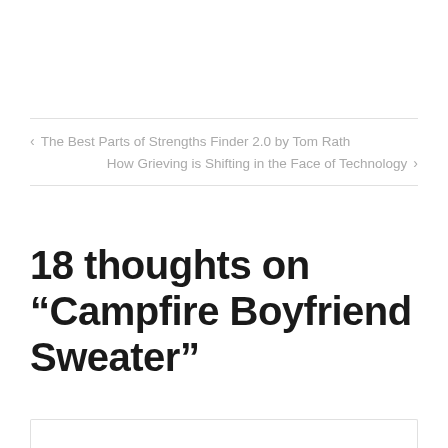‹ The Best Parts of Strengths Finder 2.0 by Tom Rath
How Grieving is Shifting in the Face of Technology ›
18 thoughts on “Campfire Boyfriend Sweater”